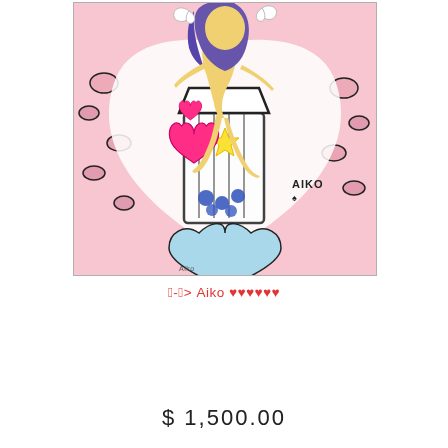[Figure (illustration): Pop art style illustration by Aiko. Features a woman with purple hair sitting on/behind a large glass filled with pink hearts, blue flowers, and a yellow star. Pink and black leopard print background pattern with a white heart shape. Butterflies at top. Text 'AIKO' visible on the artwork. Signed 'Aiko' at bottom.]
韓-韓> Aiko ♥♥♥♥♥♥
$ 1,500.00